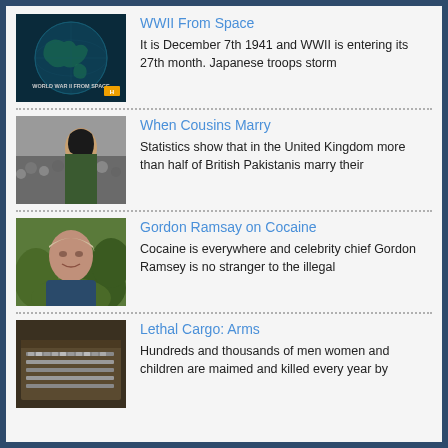[Figure (photo): Dark globe/earth image with text 'WORLD WAR II FROM SPACE' and History channel logo]
WWII From Space
It is December 7th 1941 and WWII is entering its 27th month. Japanese troops storm
[Figure (photo): Woman with dark hair in front of a crowd scene]
When Cousins Marry
Statistics show that in the United Kingdom more than half of British Pakistanis marry their
[Figure (photo): Man outdoors among greenery, Gordon Ramsay]
Gordon Ramsay on Cocaine
Cocaine is everywhere and celebrity chief Gordon Ramsey is no stranger to the illegal
[Figure (photo): Weapons/arms in a crate or container]
Lethal Cargo: Arms
Hundreds and thousands of men women and children are maimed and killed every year by